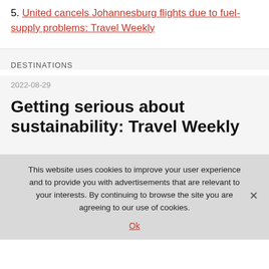5. United cancels Johannesburg flights due to fuel-supply problems: Travel Weekly
DESTINATIONS
2022-08-29
Getting serious about sustainability: Travel Weekly
This website uses cookies to improve your user experience and to provide you with advertisements that are relevant to your interests. By continuing to browse the site you are agreeing to our use of cookies.
Ok